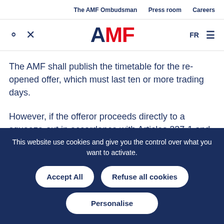The AMF Ombudsman   Press room   Careers
[Figure (logo): AMF logo with search and tools icons, FR language selector and hamburger menu]
The AMF shall publish the timetable for the re-opened offer, which must last ten or more trading days.
However, if the offeror proceeds directly to a squeeze-out in accordance with Articles 237-1 and seq., the initial offer need not be re-opened, on condition that a squeeze-out was mentioned in the offeror's statement of intentions and that it is filed no later than ten trading
This website use cookies and give you the control over what you want to activate.
Accept All   Refuse all cookies   Personalise